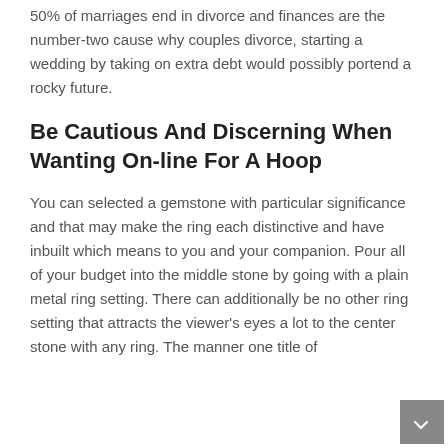50% of marriages end in divorce and finances are the number-two cause why couples divorce, starting a wedding by taking on extra debt would possibly portend a rocky future.
Be Cautious And Discerning When Wanting On-line For A Hoop
You can selected a gemstone with particular significance and that may make the ring each distinctive and have inbuilt which means to you and your companion. Pour all of your budget into the middle stone by going with a plain metal ring setting. There can additionally be no other ring setting that attracts the viewer's eyes a lot to the center stone with any ring. The manner one title of